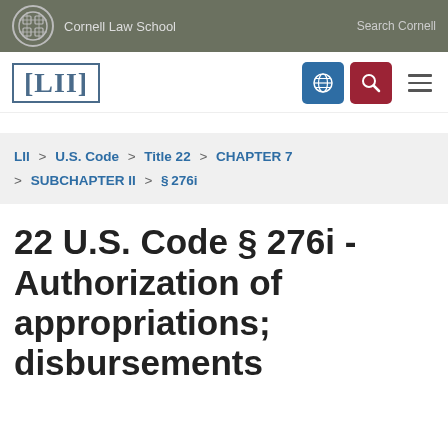Cornell Law School | Search Cornell
LII
LII > U.S. Code > Title 22 > CHAPTER 7 > SUBCHAPTER II > §276i
22 U.S. Code § 276i - Authorization of appropriations; disbursements